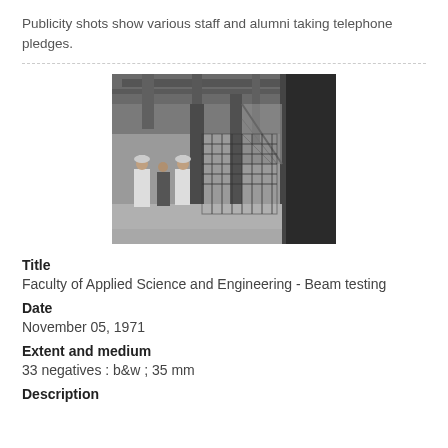Publicity shots show various staff and alumni taking telephone pledges.
[Figure (photo): Black and white photograph of people in lab coats standing in an industrial or engineering facility with steel columns and beams. Appears to be a structural testing laboratory.]
Title
Faculty of Applied Science and Engineering - Beam testing
Date
November 05, 1971
Extent and medium
33 negatives : b&w ; 35 mm
Description